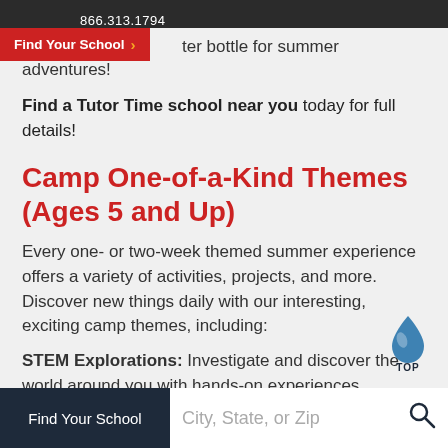866.313.1794
Find Your School >
ter bottle for summer adventures!
Find a Tutor Time school near you today for full details!
Camp One-of-a-Kind Themes (Ages 5 and Up)
Every one- or two-week themed summer experience offers a variety of activities, projects, and more. Discover new things daily with our interesting, exciting camp themes, including:
STEM Explorations: Investigate and discover the world around you with hands-on experiences.
Find Your School   City, State, or Zip